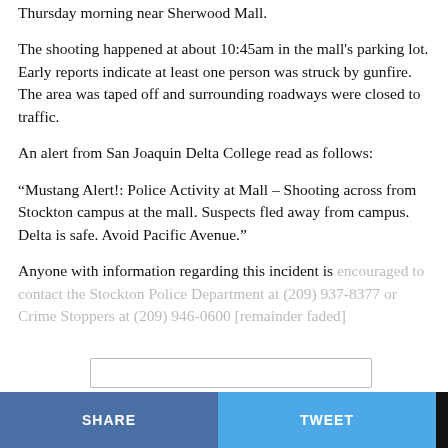Thursday morning near Sherwood Mall.
The shooting happened at about 10:45am in the mall's parking lot. Early reports indicate at least one person was struck by gunfire. The area was taped off and surrounding roadways were closed to traffic.
An alert from San Joaquin Delta College read as follows:
“Mustang Alert!: Police Activity at Mall – Shooting across from Stockton campus at the mall. Suspects fled away from campus. Delta is safe. Avoid Pacific Avenue.”
Anyone with information regarding this incident is encouraged to contact the Stockton Police Department at (209) 937-8377 or Crime Stoppers at (209) 946-0600 [remainder faded]
SHARE   TWEET   ...